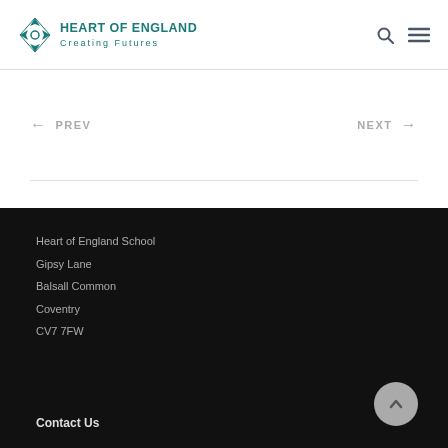Heart of England Creating Futures
← PREV    NEXT →
Heart of England School
Gipsy Lane
Balsall Common
Coventry
CV7 7FW
Contact Us